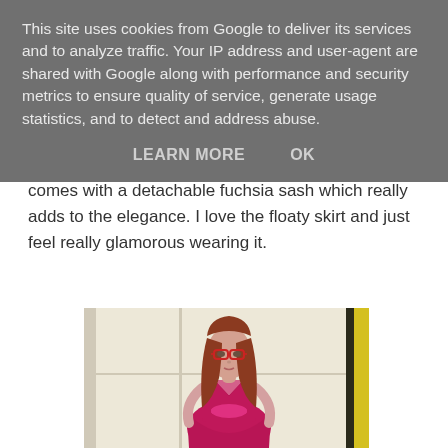This site uses cookies from Google to deliver its services and to analyze traffic. Your IP address and user-agent are shared with Google along with performance and security metrics to ensure quality of service, generate usage statistics, and to detect and address abuse.
LEARN MORE    OK
comes with a detachable fuchsia sash which really adds to the elegance. I love the floaty skirt and just feel really glamorous wearing it.
[Figure (photo): A young woman with long red/auburn hair and red glasses, wearing a fuchsia/dark pink dress, standing in front of a white door frame.]